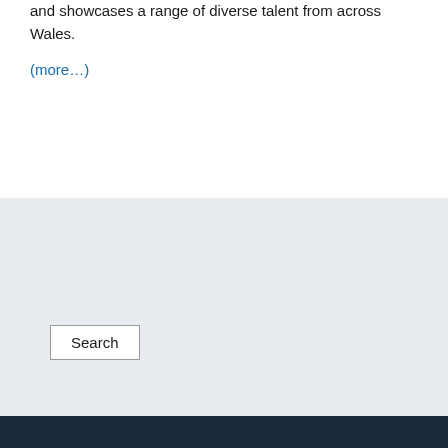and showcases a range of diverse talent from across Wales.
(more…)
Search
By continuing to use the site, you agree to the use of cookies.
Accept
Read More